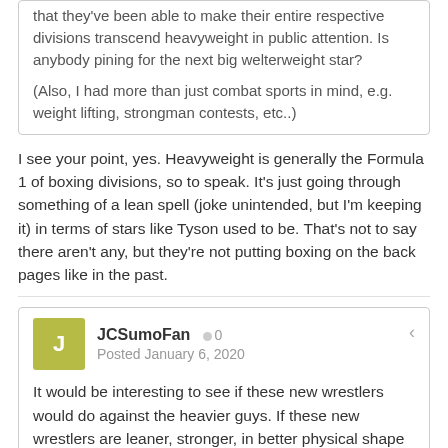that they've been able to make their entire respective divisions transcend heavyweight in public attention. Is anybody pining for the next big welterweight star?

(Also, I had more than just combat sports in mind, e.g. weight lifting, strongman contests, etc..)
I see your point, yes. Heavyweight is generally the Formula 1 of boxing divisions, so to speak. It's just going through something of a lean spell (joke unintended, but I'm keeping it) in terms of stars like Tyson used to be. That's not to say there aren't any, but they're not putting boxing on the back pages like in the past.
JCSumoFan  0  Posted January 6, 2020
It would be interesting to see if these new wrestlers would do against the heavier guys. If these new wrestlers are leaner, stronger, in better physical shape than the older style heavier guys shouldn't they just all compete together in one weight class and let the better wrestlers win?